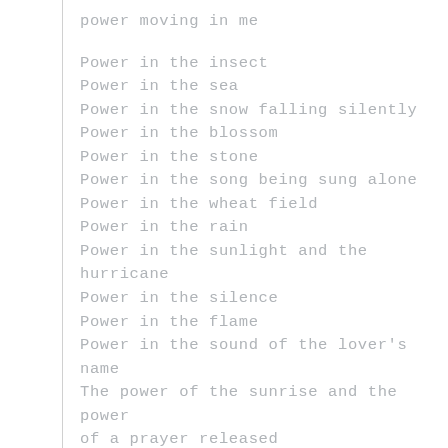power moving in me

Power in the insect
Power in the sea
Power in the snow falling silently
Power in the blossom
Power in the stone
Power in the song being sung alone
Power in the wheat field
Power in the rain
Power in the sunlight and the hurricane
Power in the silence
Power in the flame
Power in the sound of the lover's name
The power of the sunrise and the power of a prayer released